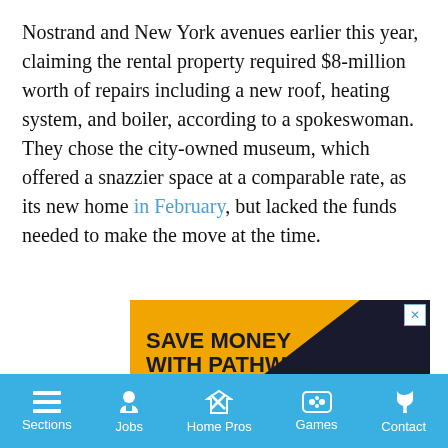Nostrand and New York avenues earlier this year, claiming the rental property required $8-million worth of repairs including a new roof, heating system, and boiler, according to a spokeswoman. They chose the city-owned museum, which offered a snazzier space at a comparable rate, as its new home in February, but lacked the funds needed to make the move at the time.
[Figure (infographic): Advertisement for Touro University New York School of graduate programs reading 'SAVE MONEY WITH PATHWAY GRADUATE PROGRAMS' on yellow and dark background with Touro University logo and name.]
Sections | Jobs | Home Pros | Games | Contact